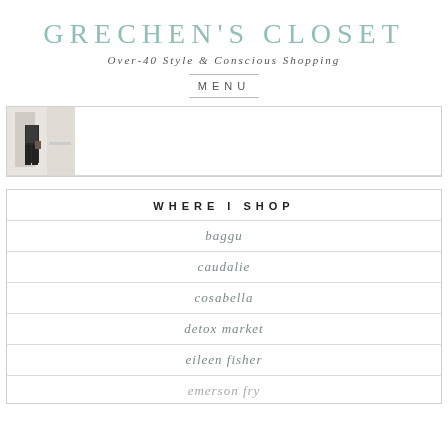GRECHEN'S CLOSET
Over-40 Style & Conscious Shopping
MENU
[Figure (photo): Small thumbnail photo of a person in a light interior, wearing dark pants, partially visible.]
WHERE I SHOP
baggu
caudalie
cosabella
detox market
eileen fisher
emerson fry